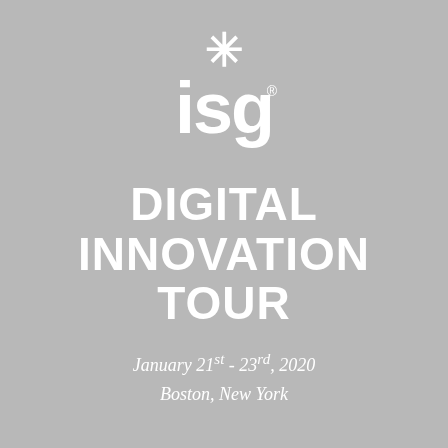[Figure (logo): ISG logo with asterisk star above the letters 'isg' in white on gray background]
DIGITAL INNOVATION TOUR
January 21st - 23rd, 2020
Boston, New York